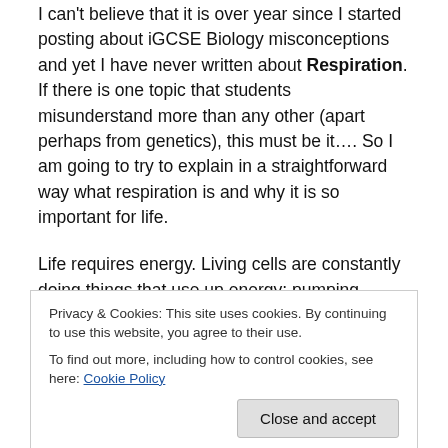I can't believe that it is over year since I started posting about iGCSE Biology misconceptions and yet I have never written about Respiration.  If there is one topic that students misunderstand more than any other (apart perhaps from genetics), this must be it….  So I am going to try to explain in a straightforward way what respiration is and why it is so important for life.
Life requires energy.  Living cells are constantly doing things that use up energy: pumping molecules across their cell membranes, moving organelles around the cell, cell division, nerve cells sending electrical impulses around the cells.
Privacy & Cookies: This site uses cookies. By continuing to use this website, you agree to their use.
To find out more, including how to control cookies, see here: Cookie Policy